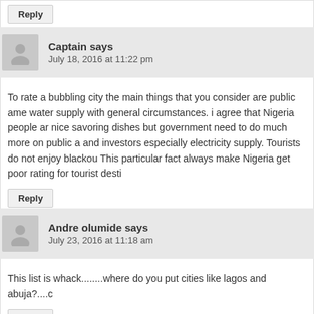Reply
Captain says
July 18, 2016 at 11:22 pm
To rate a bubbling city the main things that you consider are public ame... water supply with general circumstances. i agree that Nigeria people ar... nice savoring dishes but government need to do much more on public a... and investors especially electricity supply. Tourists do not enjoy blackou... This particular fact always make Nigeria get poor rating for tourist desti...
Reply
Andre olumide says
July 23, 2016 at 11:18 am
This list is whack........where do you put cities like lagos and abuja?....c
Reply
Billy says